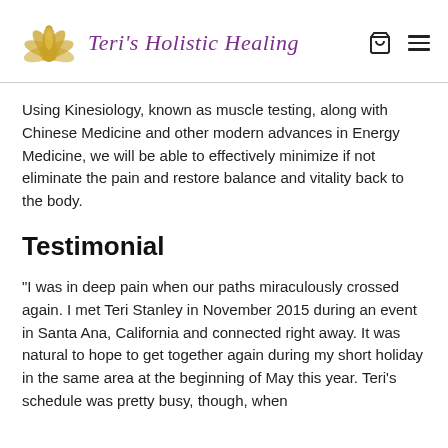Teri's Holistic Healing
Using Kinesiology, known as muscle testing, along with Chinese Medicine and other modern advances in Energy Medicine, we will be able to effectively minimize if not eliminate the pain and restore balance and vitality back to the body.
Testimonial
"I was in deep pain when our paths miraculously crossed again. I met Teri Stanley in November 2015 during an event in Santa Ana, California and connected right away. It was natural to hope to get together again during my short holiday in the same area at the beginning of May this year. Teri's schedule was pretty busy, though, when